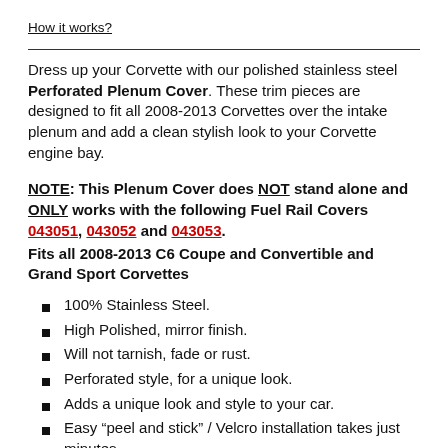How it works?
Dress up your Corvette with our polished stainless steel Perforated Plenum Cover. These trim pieces are designed to fit all 2008-2013 Corvettes over the intake plenum and add a clean stylish look to your Corvette engine bay.
NOTE: This Plenum Cover does NOT stand alone and ONLY works with the following Fuel Rail Covers 043051, 043052 and 043053.
Fits all 2008-2013 C6 Coupe and Convertible and Grand Sport Corvettes
100% Stainless Steel.
High Polished, mirror finish.
Will not tarnish, fade or rust.
Perforated style, for a unique look.
Adds a unique look and style to your car.
Easy "peel and stick" / Velcro installation takes just minutes.